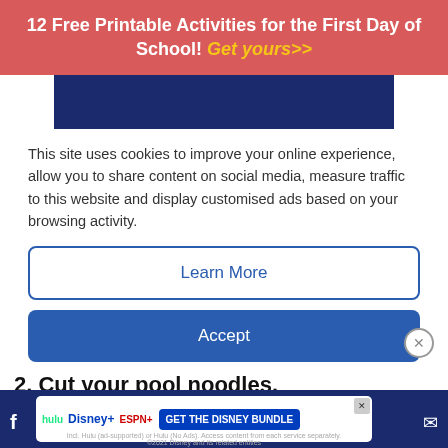12 Free Printable Activities for the First Day of School! Get yours>>
[Figure (other): Dark navy blue rectangular banner/header bar]
This site uses cookies to improve your online experience, allow you to share content on social media, measure traffic to this website and display customised ads based on your browsing activity.
Learn More
Accept
2. Cut your pool noodles.
[Figure (photo): Partial view of cardboard/brown material texture]
[Figure (infographic): Disney Bundle advertisement bar with Hulu, Disney+, ESPN+ logos and GET THE DISNEY BUNDLE call to action]